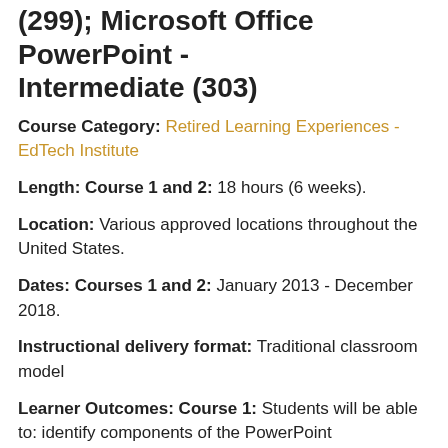(299); Microsoft Office PowerPoint - Intermediate (303)
Course Category: Retired Learning Experiences - EdTech Institute
Length: Course 1 and 2: 18 hours (6 weeks).
Location: Various approved locations throughout the United States.
Dates: Courses 1 and 2: January 2013 - December 2018.
Instructional delivery format: Traditional classroom model
Learner Outcomes: Course 1: Students will be able to: identify components of the PowerPoint environment, open and run a presentation, use Help, and close a